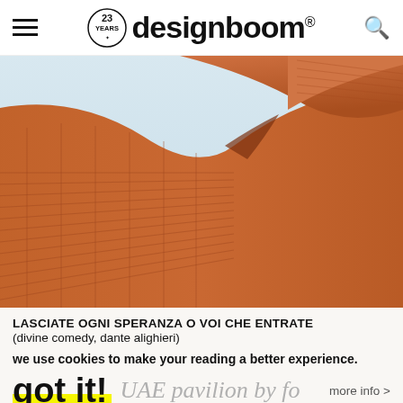designboom® — 23 YEARS
[Figure (photo): Close-up architectural photo of curved terracotta/rust-colored ribbed facade panels against a pale sky, likely the UAE pavilion]
LASCIATE OGNI SPERANZA O VOI CHE ENTRATE
(divine comedy, dante alighieri)
we use cookies to make your reading a better experience.
got it!   UAE pavilion by fo...   more info >